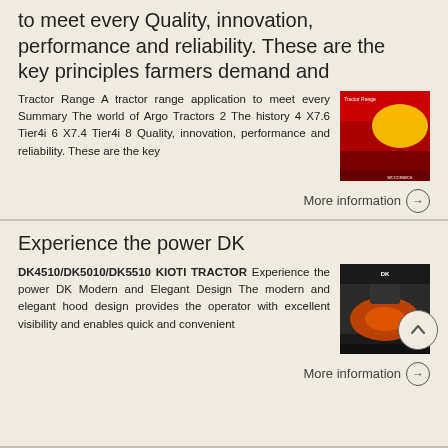to meet every Quality, innovation, performance and reliability. These are the key principles farmers demand and
Tractor Range A tractor range application to meet every Summary The world of Argo Tractors 2 The history 4 X7.6 Tier4i 6 X7.4 Tier4i 8 Quality, innovation, performance and reliability. These are the key
[Figure (photo): Thumbnail image of a red and yellow tractor brochure cover]
More information →
Experience the power DK
DK4510/DK5010/DK5510 KIOTI TRACTOR Experience the power DK Modern and Elegant Design The modern and elegant hood design provides the operator with excellent visibility and enables quick and convenient
[Figure (photo): Thumbnail image of an orange tractor in a dark setting]
More information →